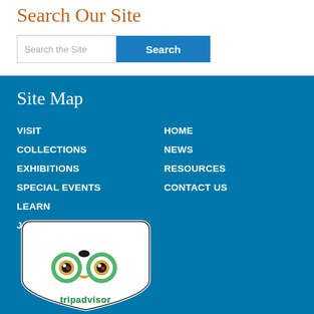Search Our Site
Search the Site | Search
Site Map
VISIT
COLLECTIONS
EXHIBITIONS
SPECIAL EVENTS
LEARN
JOIN & SUPPORT
HOME
NEWS
RESOURCES
CONTACT US
[Figure (logo): TripAdvisor owl logo badge with text 'tripadvisor']